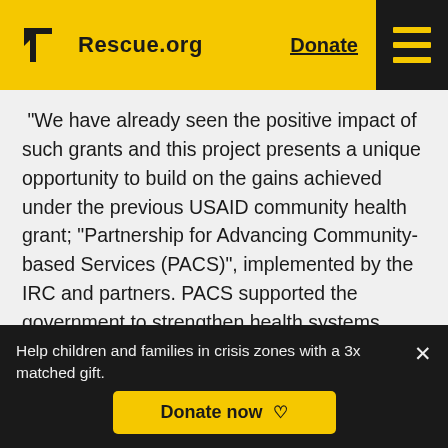Rescue.org | Donate
“We have already seen the positive impact of such grants and this project presents a unique opportunity to build on the gains achieved under the previous USAID community health grant; “Partnership for Advancing Community-based Services (PACS)”, implemented by the IRC and partners. PACS supported the government to strengthen health systems, improve reproductive maternal and child health, as well as restore public confidence in health facilities and health staff. PACS also
Help children and families in crisis zones with a 3x matched gift.
Donate now